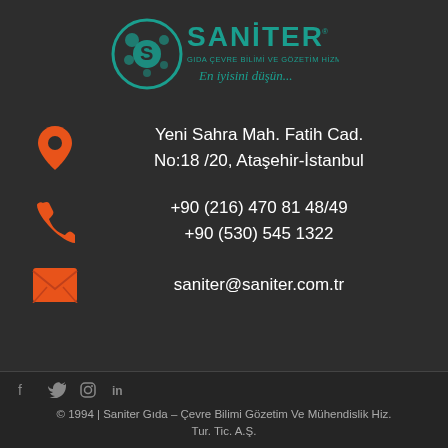[Figure (logo): Saniter logo with teal circular icon, text SANİTER in teal, subtitle GIDA ÇEVRE BİLİMİ VE GÖZETİM HİZMETLERİ, tagline En iyisini düşün...]
Yeni Sahra Mah. Fatih Cad.
No:18 /20, Ataşehir-İstanbul
+90 (216) 470 81 48/49
+90 (530) 545 1322
saniter@saniter.com.tr
© 1994 | Saniter Gıda – Çevre Bilimi Gözetim Ve Mühendislik Hiz. Tur. Tic. A.Ş.